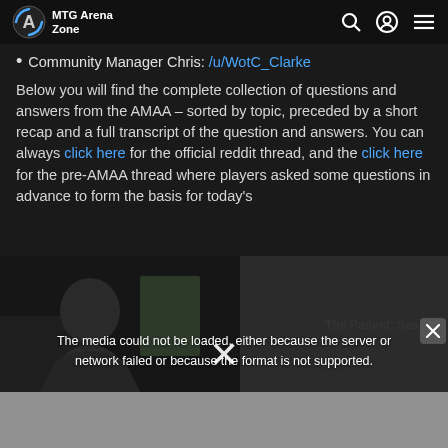MTG Arena Zone
Community Manager Chris: /u/WotC_Clarke
Below you will find the complete collection of questions and answers from the AMAA – sorted by topic, preceded by a short recap and a full transcript of the question and answers. You can always click here for the official reddit thread, and the click here for the pre-AMAA thread where players asked some questions in advance to form the basis for today's
[Figure (screenshot): Media player error overlay showing 'The media could not be loaded, either because the server or network failed or because the format is not supported.' with a partially visible video thumbnail of a person, a close button, and large X symbol.]